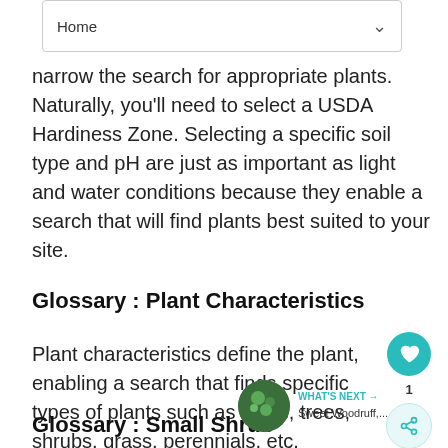Home
narrow the search for appropriate plants. Naturally, you'll need to select a USDA Hardiness Zone. Selecting a specific soil type and pH are just as important as light and water conditions because they enable a search that will find plants best suited to your site.
Glossary : Plant Characteristics
Plant characteristics define the plant, enabling a search that finds specific types of plants such as bulbs, trees, shrubs, grass, perennials, etc.
Glossary : Small Shrub